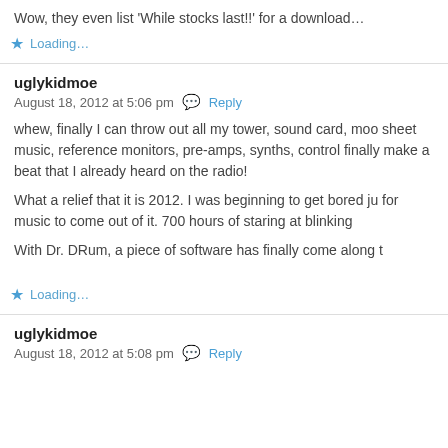Wow, they even list 'While stocks last!!' for a download...
Loading...
uglykidmoe
August 18, 2012 at 5:06 pm  Reply
whew, finally I can throw out all my tower, sound card, moo sheet music, reference monitors, pre-amps, synths, control finally make a beat that I already heard on the radio!
What a relief that it is 2012. I was beginning to get bored ju for music to come out of it. 700 hours of staring at blinking
With Dr. DRum, a piece of software has finally come along t
Loading...
uglykidmoe
August 18, 2012 at 5:08 pm  Reply